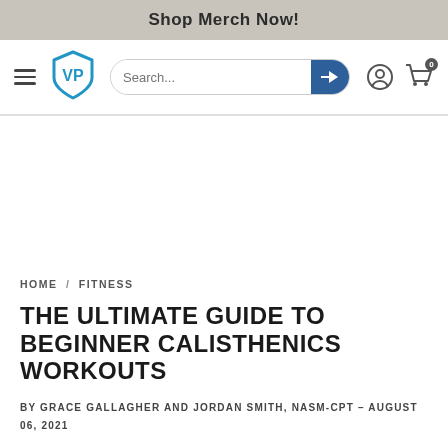Shop Merch Now!
[Figure (logo): VP shield logo in blue with navigation bar including hamburger menu, search bar with arrow button, user icon, and shopping cart icon with 0 badge]
[Figure (other): Advertisement/blank white space area]
HOME / FITNESS
THE ULTIMATE GUIDE TO BEGINNER CALISTHENICS WORKOUTS
BY GRACE GALLAGHER AND JORDAN SMITH, NASM-CPT - AUGUST 06, 2021